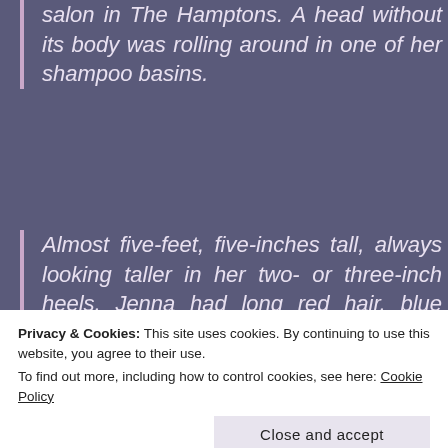salon in The Hamptons. A head without its body was rolling around in one of her shampoo basins.
Almost five-feet, five-inches tall, always looking taller in her two- or three-inch heels, Jenna had long red hair, blue eyes and was often seen driving around the East End in a white jeep, and in recent years, with her Irish setter sitting next to h...
Privacy & Cookies: This site uses cookies. By continuing to use this website, you agree to their use.
To find out more, including how to control cookies, see here: Cookie Policy
Close and accept
Read an excerpt from book 1, Dying to Be